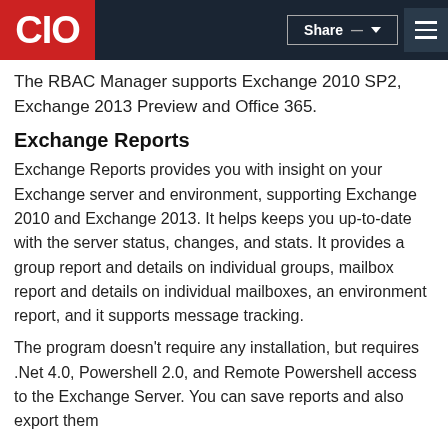CIO | Share
The RBAC Manager supports Exchange 2010 SP2, Exchange 2013 Preview and Office 365.
Exchange Reports
Exchange Reports provides you with insight on your Exchange server and environment, supporting Exchange 2010 and Exchange 2013. It helps keeps you up-to-date with the server status, changes, and stats. It provides a group report and details on individual groups, mailbox report and details on individual mailboxes, an environment report, and it supports message tracking.
The program doesn't require any installation, but requires .Net 4.0, Powershell 2.0, and Remote Powershell access to the Exchange Server. You can save reports and also export them